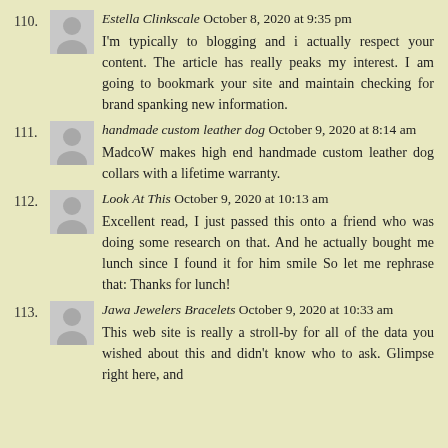110. Estella Clinkscale October 8, 2020 at 9:35 pm
I'm typically to blogging and i actually respect your content. The article has really peaks my interest. I am going to bookmark your site and maintain checking for brand spanking new information.
111. handmade custom leather dog October 9, 2020 at 8:14 am
MadcoW makes high end handmade custom leather dog collars with a lifetime warranty.
112. Look At This October 9, 2020 at 10:13 am
Excellent read, I just passed this onto a friend who was doing some research on that. And he actually bought me lunch since I found it for him smile So let me rephrase that: Thanks for lunch!
113. Jawa Jewelers Bracelets October 9, 2020 at 10:33 am
This web site is really a stroll-by for all of the data you wished about this and didn't know who to ask. Glimpse right here, and